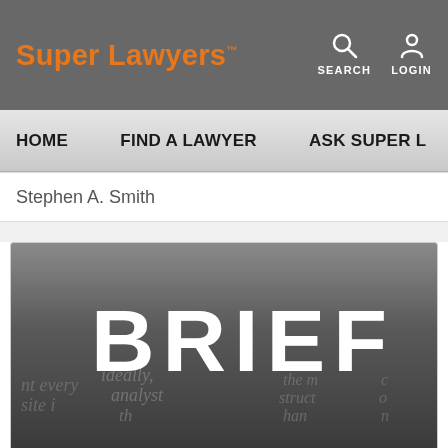Super Lawyers — SEARCH LOGIN
HOME   FIND A LAWYER   ASK SUPER L
Stephen A. Smith
[Figure (photo): Dark gray gradient background with large white bold text 'BRIEF' and blurred background text showing words like 'ideally', 'analyst', 'structure', 'hand' suggesting a legal brief document]